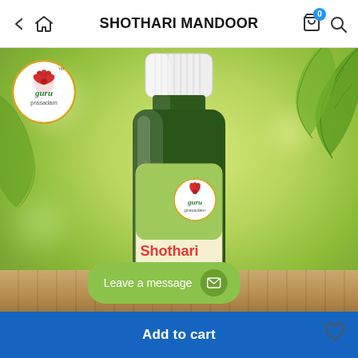SHOTHARI MANDOOR
[Figure (photo): Product photo of Shothari Mandoor herbal supplement bottle by Guru Prasadam brand, shown against a green leafy background with wooden surface. White ribbed cap, dark green bottle with label showing green leaves and red text 'Shothari Mandoor'. Guru Prasadam logo circle visible top-left and on bottle label.]
Leave a message
Add to cart